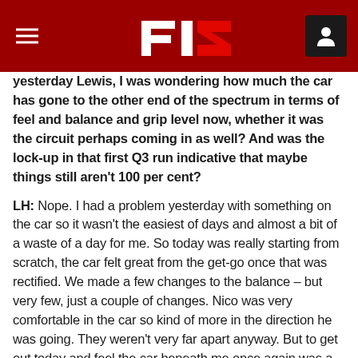F1 Logo Navigation Header
yesterday Lewis, I was wondering how much the car has gone to the other end of the spectrum in terms of feel and balance and grip level now, whether it was the circuit perhaps coming in as well? And was the lock-up in that first Q3 run indicative that maybe things still aren't 100 per cent?
LH: Nope. I had a problem yesterday with something on the car so it wasn't the easiest of days and almost a bit of a waste of a day for me. So today was really starting from scratch, the car felt great from the get-go once that was rectified. We made a few changes to the balance – but very few, just a couple of changes. Nico was very comfortable in the car so kind of more in the direction he was going. They weren't very far apart anyway. But to get out today and feel the car beneath me once again was a great relief. But still, Nico was incredibly strong, as you can see, so there was areas I knew I needed to pick up and that was really what I was trying to do – and in Turn Ten a little bit too much. When I